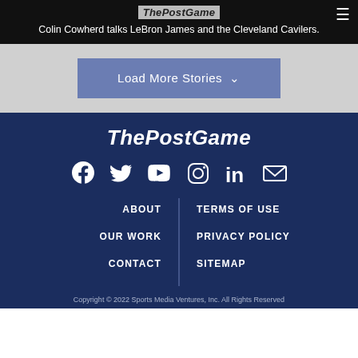ThePostGame
Colin Cowherd talks LeBron James and the Cleveland Cavilers.
Load More Stories
[Figure (logo): ThePostGame logo in white on dark navy background]
[Figure (infographic): Social media icons: Facebook, Twitter, YouTube, Instagram, LinkedIn, Email]
ABOUT
TERMS OF USE
OUR WORK
PRIVACY POLICY
CONTACT
SITEMAP
Copyright © 2022 Sports Media Ventures, Inc. All Rights Reserved